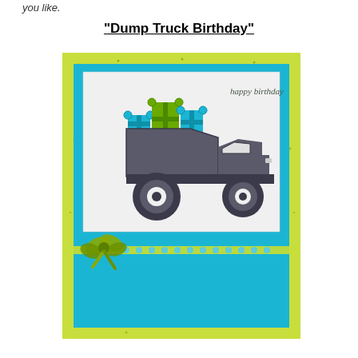you like.
"Dump Truck Birthday"
[Figure (photo): A handmade birthday card featuring a dump truck stamped in grey filled with colorful gift boxes in teal and green, on a white panel with 'happy birthday' text, layered on teal and lime green speckled cardstock, with a green ribbon tied in a bow across the front.]